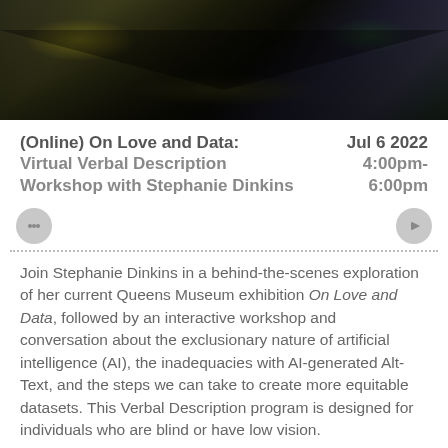[Figure (photo): Interior photo of an immersive exhibition space with projected images on dark walls forming a triangular/tent-like perspective]
(Online) On Love and Data: Virtual Verbal Description Workshop with Stephanie Dinkins
Jul 6 2022 4:00pm- 6:00pm
Join Stephanie Dinkins in a behind-the-scenes exploration of her current Queens Museum exhibition On Love and Data, followed by an interactive workshop and conversation about the exclusionary nature of artificial intelligence (AI), the inadequacies with AI-generated Alt-Text, and the steps we can take to create more equitable datasets. This Verbal Description program is designed for individuals who are blind or have low vision.